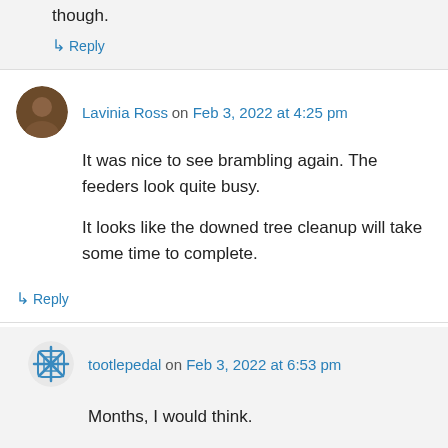though.
↳ Reply
Lavinia Ross on Feb 3, 2022 at 4:25 pm
It was nice to see brambling again. The feeders look quite busy.

It looks like the downed tree cleanup will take some time to complete.
↳ Reply
tootlepedal on Feb 3, 2022 at 6:53 pm
Months, I would think.